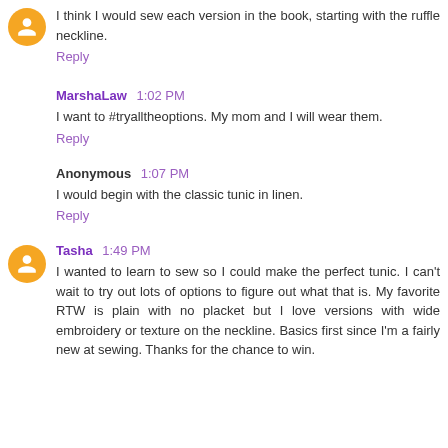I think I would sew each version in the book, starting with the ruffle neckline.
Reply
MarshaLaw  1:02 PM
I want to #tryalltheoptions. My mom and I will wear them.
Reply
Anonymous  1:07 PM
I would begin with the classic tunic in linen.
Reply
Tasha  1:49 PM
I wanted to learn to sew so I could make the perfect tunic. I can't wait to try out lots of options to figure out what that is. My favorite RTW is plain with no placket but I love versions with wide embroidery or texture on the neckline. Basics first since I'm a fairly new at sewing. Thanks for the chance to win.